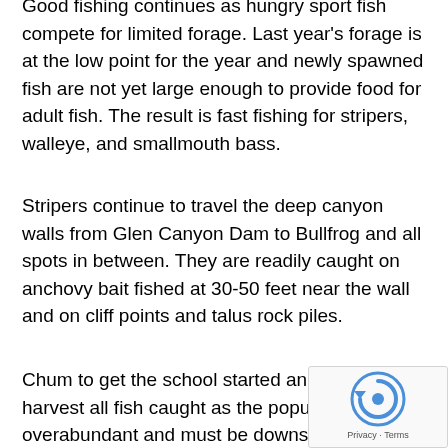Good fishing continues as hungry sport fish compete for limited forage. Last year's forage is at the low point for the year and newly spawned fish are not yet large enough to provide food for adult fish. The result is fast fishing for stripers, walleye, and smallmouth bass.
Stripers continue to travel the deep canyon walls from Glen Canyon Dam to Bullfrog and all spots in between. They are readily caught on anchovy bait fished at 30-50 feet near the wall and on cliff points and talus rock piles.
Chum to get the school started and then harvest all fish caught as the population is overabundant and must be downsized to keep the fisheries healthy. Some of the hotspots include Navajo, Last Chance, Oak and Reflection, Jacks Arch, Escalante, Moki, Hansen Creek and Red Canyon.